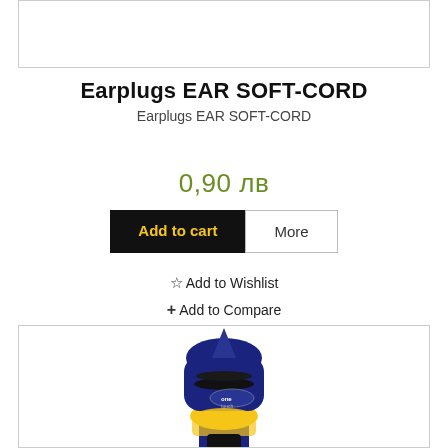[Figure (other): Top image placeholder box (empty white box with border)]
Earplugs EAR SOFT-CORD
Earplugs EAR SOFT-CORD
0,90 лв
Add to cart
More
☆ Add to Wishlist
+ Add to Compare
[Figure (photo): Product photo of an earplug dispenser device - blue and yellow, branded 'one touch']